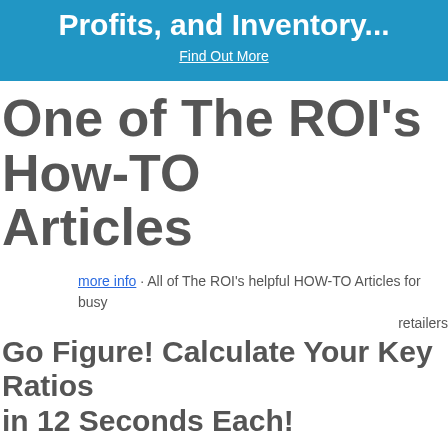Profits, and Inventory...
Find Out More
One of The ROI's How-TO Articles
more info · All of The ROI's helpful HOW-TO Articles for busy retailers
Go Figure! Calculate Your Key Ratios in 12 Seconds Each!
"So...how's business?"